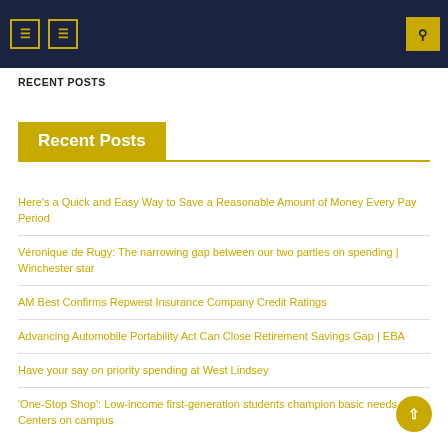RECENT POSTS
Recent Posts
Here's a Quick and Easy Way to Save a Reasonable Amount of Money Every Pay Period
Véronique de Rugy: The narrowing gap between our two parties on spending | Winchester star
AM Best Confirms Repwest Insurance Company Credit Ratings
Advancing Automobile Portability Act Can Close Retirement Savings Gap | EBA
Have your say on priority spending at West Lindsey
'One-Stop Shop': Low-income first-generation students champion basic needs Centers on campus